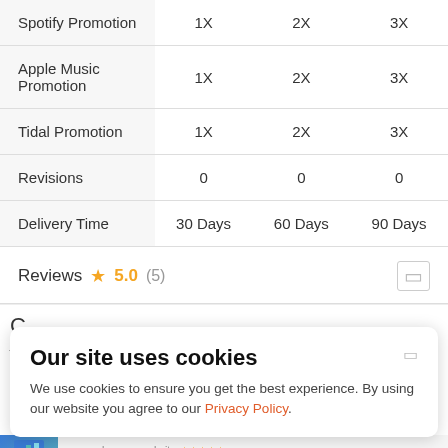|  | 1X | 2X | 3X |
| --- | --- | --- | --- |
| Spotify Promotion | 1X | 2X | 3X |
| Apple Music Promotion | 1X | 2X | 3X |
| Tidal Promotion | 1X | 2X | 3X |
| Revisions | 0 | 0 | 0 |
| Delivery Time | 30 Days | 60 Days | 90 Days |
Reviews ★ 5.0 (5)
Our site uses cookies
We use cookies to ensure you get the best experience. By using our website you agree to our Privacy Policy.